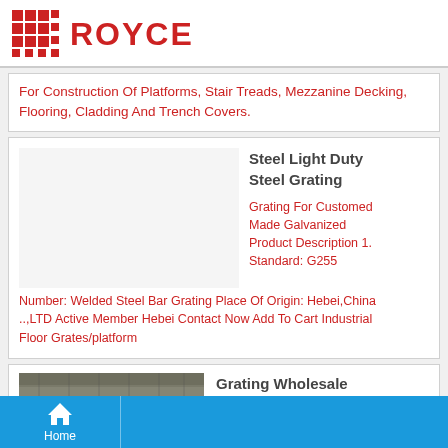ROYCE
For Construction Of Platforms, Stair Treads, Mezzanine Decking, Flooring, Cladding And Trench Covers.
Steel Light Duty Steel Grating
Grating For Customed Made Galvanized Product Description 1. Standard: G255 Number: Welded Steel Bar Grating Place Of Origin: Hebei,China ..,LTD Active Member Hebei Contact Now Add To Cart Industrial Floor Grates/platform
Grating Wholesale Industrial Steel
Home